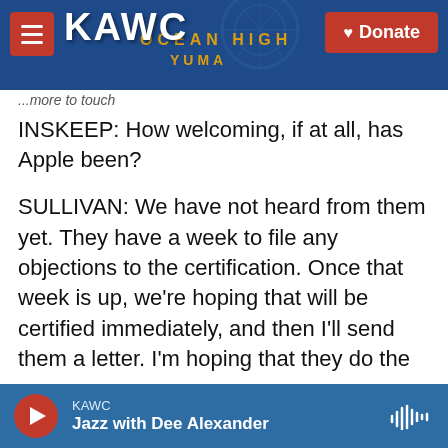KAWC | Donate
...more to touch
INSKEEP: How welcoming, if at all, has Apple been?
SULLIVAN: We have not heard from them yet. They have a week to file any objections to the certification. Once that week is up, we're hoping that will be certified immediately, and then I'll send them a letter. I'm hoping that they do the right thing. The workers have spoken. People have the right to form a union, join a union. It doesn't have to be an adversarial relationship. I think if they give these workers and the Machinists Union a chance, that they'll probably be pretty impressed. So we're
KAWC | Jazz with Dee Alexander